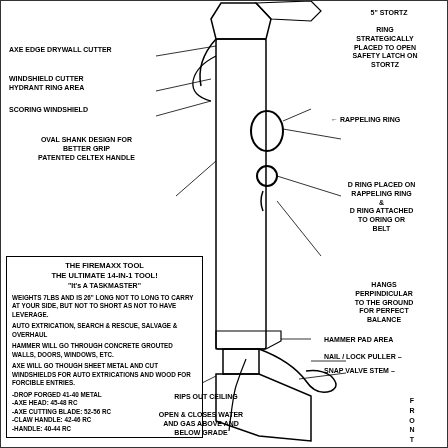[Figure (engineering-diagram): Technical diagram of the Firemaxx Tool (14-in-1 firefighting tool), showing a front view of the tool with labeled components including axe edge drywall cutter, windshield cutter, hydrant ring area, scoring windshield, oval shank design, patented celtex handle, 5-inch Stortz connection, rappeling ring with D-ring, hammer pad area, nail/lock puller, snap valve stem, and various rings and connectors.]
AXE EDGE DRYWALL CUTTER
WINDSHIELD CUTTER HYDRANT RING AREA
SCORING WINDSHIELD
OVAL SHANK DESIGN FOR BETTER GRIP PATENTED CELTEX HANDLE
5" STORTZ
RING STRATEGICALLY PLACED TO OPEN SAFETY LATCH ON STORTZ
RAPPELING RING
D RING PLACED ON RAPPELING RING & D RING ATTACHED TO ORING OR BELT
HANGS PERPINDICULAR TO THE GROUND FOR PERFECT BALANCE
HAMMER PAD AREA
NAIL / LOCK PULLER
SNAP VALVE STEM
FRONT VIEW
RIPS OUT CEILING
OPEN & CLOSES WATER AND GAS ABOVE AND BELOW GRADE
THE FIREMAXX TOOL
THE ULTIMATE 14-IN-1 TOOL!
"It's A TASKMASTER"

WEIGHTS 7LBS AND IS 26" LONG NOT TO LONG TO CARRY AT YOUR SIDE, BUT NOT TO SHORT AS NOT TO HAVE LEVERAGE.

AUTO EXTRICATION, SEARCH & RESCUE, SALVAGE & OVERHAUL

HAMMER WILL GO THROUGH CONCRETE GROUTED WALLS, DOORS, WINDOWS, ETC.

AXE WILL GO THOUGH SHEET METAL AND CUT WINDSHIELDS FOR AUTO EXTRICATIONS AND WOOD FOR FORCIBLE ENTRIES.

-DROP FORGED 41-40 METAL
-AXE HEAD: 45-48 RC
-AXE CUTTING BLADE: 52-56 RC
-CLAW HANDLE: 42-46 RC
-HANDLE: 40-44 RC